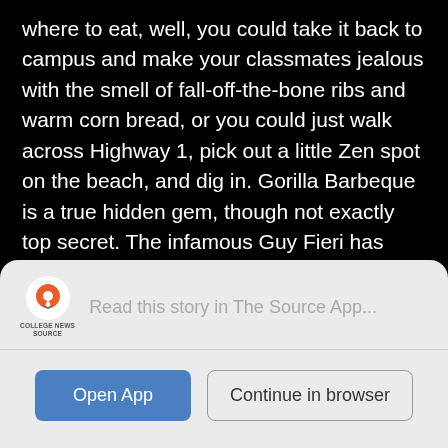where to eat, well, you could take it back to campus and make your classmates jealous with the smell of fall-off-the-bone ribs and warm corn bread, or you could just walk across Highway 1, pick out a little Zen spot on the beach, and dig in. Gorilla Barbeque is a true hidden gem, though not exactly top secret. The infamous Guy Fieri has endorsed it, even going so far as to spray paint his personal brand logo behind the door. Take that promotion however you like.
If Fieri walked into my kitchen, fist bumping and “bro’ing” it up, I’d start shopping for better insurance and a can of gas. Hey Fieri may not know the first thing about
[Figure (screenshot): App prompt overlay: College News Source logo with text 'Read this story in The Source App...' and two buttons: 'Open App' (blue) and 'Continue in browser' (outlined)]